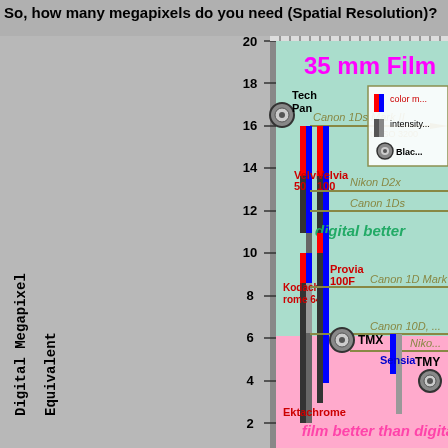So, how many megapixels do you need (Spatial Resolution)?
[Figure (infographic): Chart comparing Digital Megapixel Equivalent (y-axis, 2-20) for various 35mm films and digital cameras. Background is split: pink (bottom, film better than digital) and green (top, digital better). Film types shown as vertical colored bars (red=color, blue=intensity). Camera models shown as horizontal gold lines at their megapixel equivalents. Films labeled: Tech Pan (~16-17), Velvia 50, Velvia 100, Kodachrome 64, Provia 100F, Ektachrome, TMX, TMY, Sensia. Cameras: Canon 1Ds Mark II (~16), Nikon D2x (~13), Canon 1Ds (~12), Canon 1D Mark (hidden), Canon 10D (hidden), Nikon (hidden). Legend box in top right shows color meaning.]